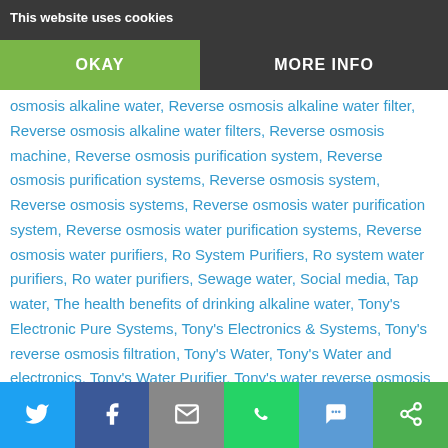This website uses cookies | OKAY | MORE INFO
osmosis alkaline water, Reverse osmosis alkaline water filter, Reverse osmosis alkaline water filters, Reverse osmosis machine, Reverse osmosis purification system, Reverse osmosis purification systems, Reverse osmosis system, Reverse osmosis systems, Reverse osmosis water purification system, Reverse osmosis water purification systems, Reverse osmosis water purifiers, Ro System Purifiers, Ro system water purifiers, Ro water purifiers, Sewage water, Social media, Tap water, The health benefits of drinking alkaline water, Tony's Electronic Pure Systems, Tony's Electronics & Systems, Tony's reverse osmosis filtration, Tony's Water, Tony's Water and electronics, Tony's Water Purifier, Tony's water reverse osmosis filtration, Tonys electronics and water, Tonys water and electronics, Tonyswater, Treatment centers,
Twitter | Facebook | Email | WhatsApp | SMS | More